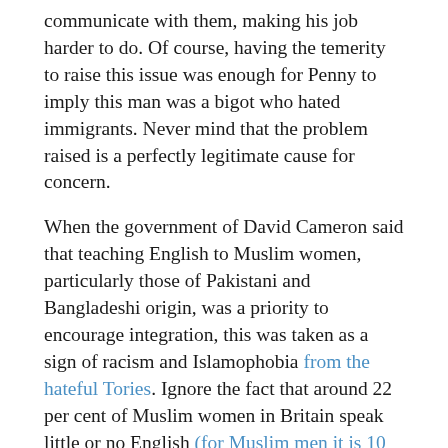communicate with them, making his job harder to do. Of course, having the temerity to raise this issue was enough for Penny to imply this man was a bigot who hated immigrants. Never mind that the problem raised is a perfectly legitimate cause for concern.
When the government of David Cameron said that teaching English to Muslim women, particularly those of Pakistani and Bangladeshi origin, was a priority to encourage integration, this was taken as a sign of racism and Islamophobia from the hateful Tories. Ignore the fact that around 22 per cent of Muslim women in Britain speak little or no English (for Muslim men it is 10 per cent). This goal was unfairly caricatured as an example of the paternalistic Tories treating brown women as less human than themselves.